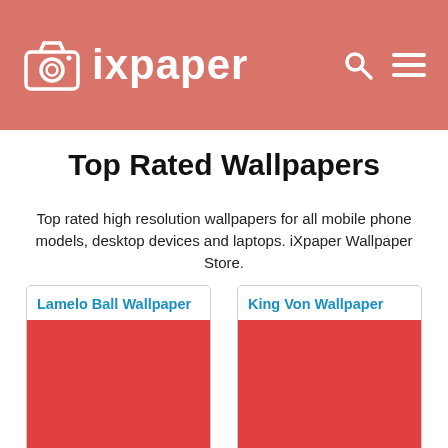ixpaper
Top Rated Wallpapers
Top rated high resolution wallpapers for all mobile phone models, desktop devices and laptops. iXpaper Wallpaper Store.
Lamelo Ball Wallpaper
[Figure (photo): Red placeholder image for Lamelo Ball Wallpaper]
King Von Wallpaper
[Figure (photo): Red placeholder image for King Von Wallpaper]